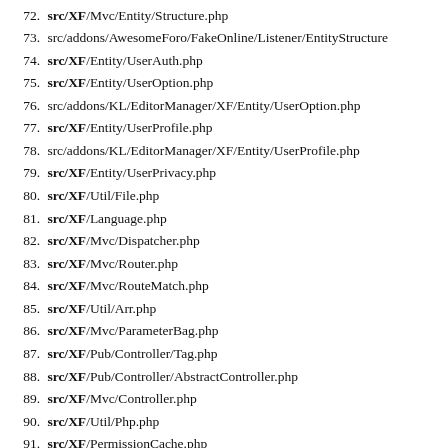72. src/XF/Mvc/Entity/Structure.php
73. src/addons/AwesomeForo/FakeOnline/Listener/EntityStructure
74. src/XF/Entity/UserAuth.php
75. src/XF/Entity/UserOption.php
76. src/addons/KL/EditorManager/XF/Entity/UserOption.php
77. src/XF/Entity/UserProfile.php
78. src/addons/KL/EditorManager/XF/Entity/UserProfile.php
79. src/XF/Entity/UserPrivacy.php
80. src/XF/Util/File.php
81. src/XF/Language.php
82. src/XF/Mvc/Dispatcher.php
83. src/XF/Mvc/Router.php
84. src/XF/Mvc/RouteMatch.php
85. src/XF/Util/Arr.php
86. src/XF/Mvc/ParameterBag.php
87. src/XF/Pub/Controller/Tag.php
88. src/XF/Pub/Controller/AbstractController.php
89. src/XF/Mvc/Controller.php
90. src/XF/Util/Php.php
91. src/XF/PermissionCache.php
92. src/XF/PermissionSet.php
93. src/XF/Mvc/Reply/Reroute.php
94. src/XF/Mvc/Reply/AbstractReply.php
95. src/XF/Entity/Tag.php
96. src/XF/Mvc/Entity/Finder.php
97. src/XF/Repository/Tag.php